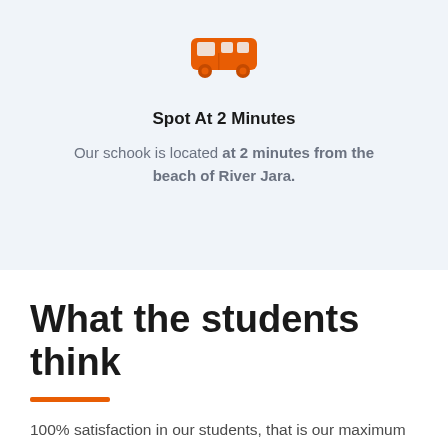[Figure (illustration): Orange bus/van icon]
Spot At 2 Minutes
Our schook is located at 2 minutes from the beach of River Jara.
What the students think
100% satisfaction in our students, that is our maximum